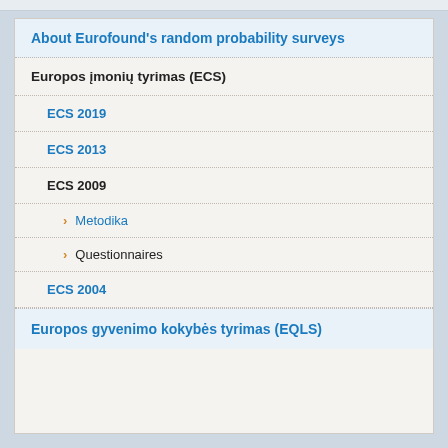About Eurofound's random probability surveys
Europos įmonių tyrimas (ECS)
ECS 2019
ECS 2013
ECS 2009
Metodika
Questionnaires
ECS 2004
Europos gyvenimo kokybės tyrimas (EQLS)